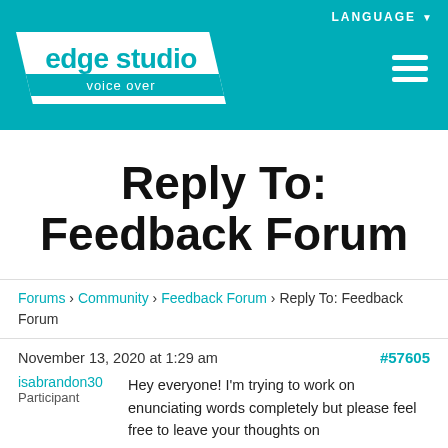edge studio voice over
Reply To: Feedback Forum
Forums › Community › Feedback Forum › Reply To: Feedback Forum
November 13, 2020 at 1:29 am  #57605
isabrandon30
Participant
Hey everyone! I'm trying to work on enunciating words completely but please feel free to leave your thoughts on